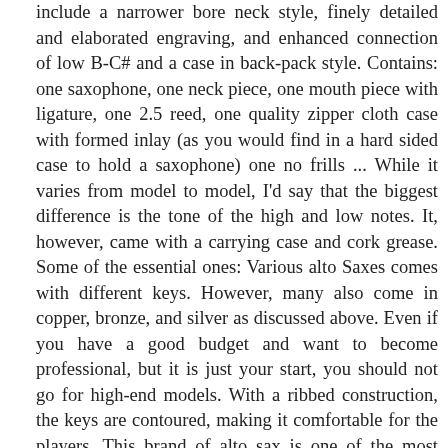include a narrower bore neck style, finely detailed and elaborated engraving, and enhanced connection of low B-C# and a case in back-pack style. Contains: one saxophone, one neck piece, one mouth piece with ligature, one 2.5 reed, one quality zipper cloth case with formed inlay (as you would find in a hard sided case to hold a saxophone) one no frills ... While it varies from model to model, I'd say that the biggest difference is the tone of the high and low notes. It, however, came with a carrying case and cork grease. Some of the essential ones: Various alto Saxes comes with different keys. However, many also come in copper, bronze, and silver as discussed above. Even if you have a good budget and want to become professional, but it is just your start, you should not go for high-end models. With a ribbed construction, the keys are contoured, making it comfortable for the players. This brand of alto sax is one of the most trusted wind instrument. Users will also enjoy a basic, perfect layout ensuring and compact design, providing that you never mix it